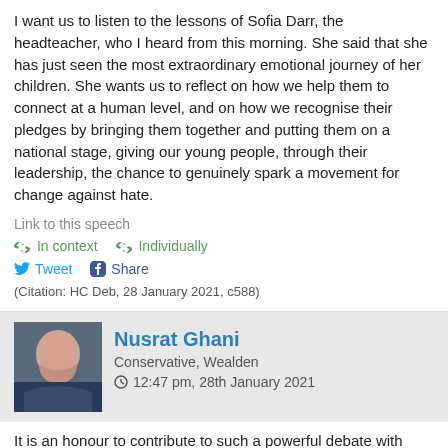I want us to listen to the lessons of Sofia Darr, the headteacher, who I heard from this morning. She said that she has just seen the most extraordinary emotional journey of her children. She wants us to reflect on how we help them to connect at a human level, and on how we recognise their pledges by bringing them together and putting them on a national stage, giving our young people, through their leadership, the chance to genuinely spark a movement for change against hate.
Link to this speech
In context   Individually
Tweet   Share
(Citation: HC Deb, 28 January 2021, c588)
Nusrat Ghani
Conservative, Wealden
12:47 pm, 28th January 2021
It is an honour to contribute to such a powerful debate with heartfelt contributions from colleagues across the House.
Today, as we reflect on Holocaust Memorial Day, I want to share the